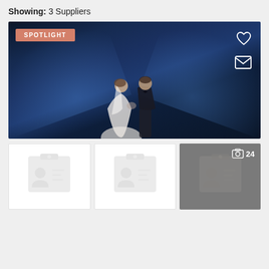Showing: 3 Suppliers
[Figure (photo): Wedding couple kissing under a starry night sky with blue milky way light beams spreading outward, labeled SPOTLIGHT in top-left, with heart and mail icons in top-right]
[Figure (other): Supplier card placeholder icon with badge/profile graphic, white background]
[Figure (other): Supplier card placeholder icon with badge/profile graphic, white background]
[Figure (other): Supplier card placeholder icon with badge/profile graphic, dark grey background, showing photo count 24 in top-right]